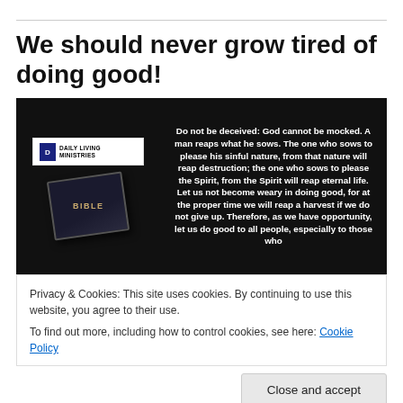We should never grow tired of doing good!
[Figure (photo): Dark background image with Daily Living Ministries logo card and a Bible on the left, and a Bible verse quote on the right in white bold text: 'Do not be deceived: God cannot be mocked. A man reaps what he sows. The one who sows to please his sinful nature, from that nature will reap destruction; the one who sows to please the Spirit, from the Spirit will reap eternal life. Let us not become weary in doing good, for at the proper time we will reap a harvest if we do not give up. Therefore, as we have opportunity, let us do good to all people, especially to those who']
Privacy & Cookies: This site uses cookies. By continuing to use this website, you agree to their use.
To find out more, including how to control cookies, see here: Cookie Policy
Close and accept